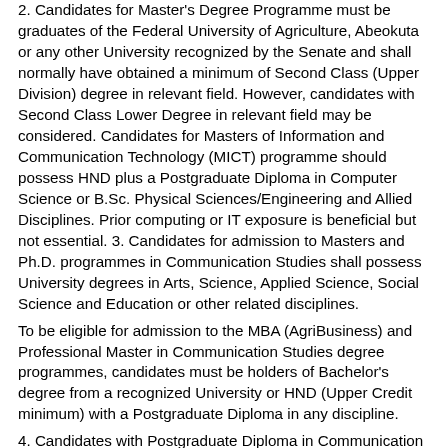2. Candidates for Master's Degree Programme must be graduates of the Federal University of Agriculture, Abeokuta or any other University recognized by the Senate and shall normally have obtained a minimum of Second Class (Upper Division) degree in relevant field. However, candidates with Second Class Lower Degree in relevant field may be considered. Candidates for Masters of Information and Communication Technology (MICT) programme should possess HND plus a Postgraduate Diploma in Computer Science or B.Sc. Physical Sciences/Engineering and Allied Disciplines. Prior computing or IT exposure is beneficial but not essential. 3. Candidates for admission to Masters and Ph.D. programmes in Communication Studies shall possess University degrees in Arts, Science, Applied Science, Social Science and Education or other related disciplines.
To be eligible for admission to the MBA (AgriBusiness) and Professional Master in Communication Studies degree programmes, candidates must be holders of Bachelor's degree from a recognized University or HND (Upper Credit minimum) with a Postgraduate Diploma in any discipline.
4. Candidates with Postgraduate Diploma in Communication studies with a minimum cumulative average of 55% may be